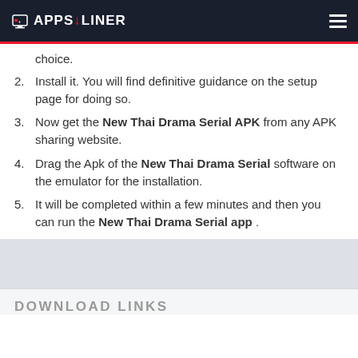APPS LINER
choice.
Install it. You will find definitive guidance on the setup page for doing so.
Now get the New Thai Drama Serial APK from any APK sharing website.
Drag the Apk of the New Thai Drama Serial software on the emulator for the installation.
It will be completed within a few minutes and then you can run the New Thai Drama Serial app .
DOWNLOAD LINKS